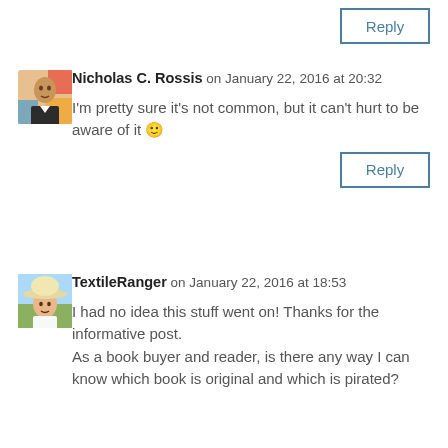Reply
Nicholas C. Rossis on January 22, 2016 at 20:32
I'm pretty sure it's not common, but it can't hurt to be aware of it 🙂
Reply
[Figure (photo): Avatar photo of Nicholas C. Rossis, man in suit]
TextileRanger on January 22, 2016 at 18:53
I had no idea this stuff went on! Thanks for the informative post. As a book buyer and reader, is there any way I can know which book is original and which is pirated?
[Figure (photo): Avatar photo of TextileRanger, woman with hat outdoors]